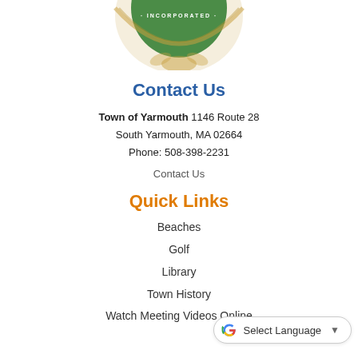[Figure (logo): Town of Yarmouth seal/logo — partial view showing a rope-bordered circular emblem with green background and 'INCORPORATED' text, cropped at top of page]
Contact Us
Town of Yarmouth 1146 Route 28
South Yarmouth, MA 02664
Phone: 508-398-2231
Contact Us
Quick Links
Beaches
Golf
Library
Town History
Watch Meeting Videos Online